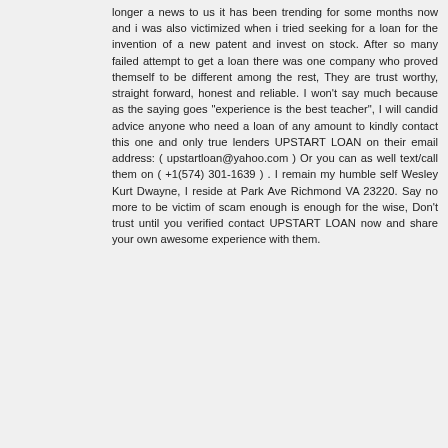longer a news to us it has been trending for some months now and i was also victimized when i tried seeking for a loan for the invention of a new patent and invest on stock. After so many failed attempt to get a loan there was one company who proved themself to be different among the rest, They are trust worthy, straight forward, honest and reliable. I won't say much because as the saying goes "experience is the best teacher", I will candid advice anyone who need a loan of any amount to kindly contact this one and only true lenders UPSTART LOAN on their email address: ( upstartloan@yahoo.com ) Or you can as well text/call them on ( +1(574) 301-1639 ) . I remain my humble self Wesley Kurt Dwayne, I reside at Park Ave Richmond VA 23220. Say no more to be victim of scam enough is enough for the wise, Don't trust until you verified contact UPSTART LOAN now and share your own awesome experience with them.